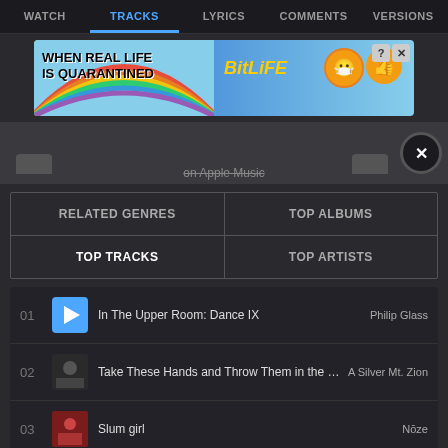WATCH | TRACKS | LYRICS | COMMENTS | VERSIONS
[Figure (screenshot): BitLife advertisement banner: 'WHEN REAL LIFE IS QUARANTINED' with BitLife logo and emoji characters, rainbow background]
on Apple Music
| RELATED GENRES | TOP ALBUMS | TOP TRACKS | TOP ARTISTS |
| --- | --- | --- | --- |
01 In The Upper Room: Dance IX — Philip Glass
02 Take These Hands and Throw Them in the River. — A Silver Mt. Zion
03 Slum girl — Nōze
04 Lonn — Lund Quartet